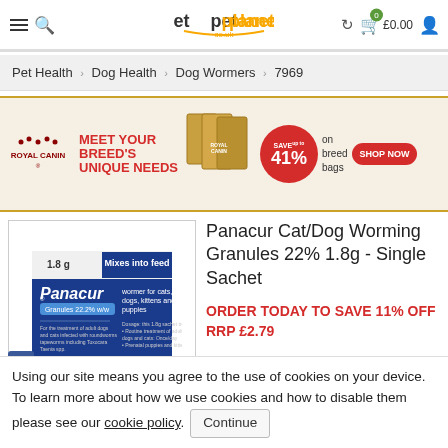petplanet.co.uk — navigation header with hamburger menu, search, logo, refresh, cart £0.00, user icon
Pet Health › Dog Health › Dog Wormers › 7969
[Figure (infographic): Royal Canin advertisement banner: MEET YOUR BREED'S UNIQUE NEEDS — SAVE up to 41% on breed bags — SHOP NOW button]
[Figure (photo): Panacur Granules 22.2% w/w 1.8g sachet package — blue and white packaging, Mixes into feed, wormer for cats, dogs, kittens and puppies]
Panacur Cat/Dog Worming Granules 22% 1.8g - Single Sachet
ORDER TODAY TO SAVE 11% OFF RRP £2.79
Using our site means you agree to the use of cookies on your device. To learn more about how we use cookies and how to disable them please see our cookie policy. Continue